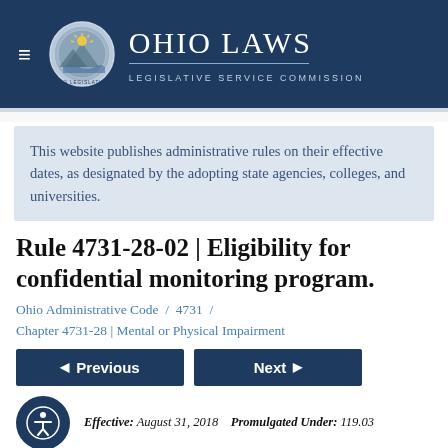Ohio Laws | Legislative Service Commission
This website publishes administrative rules on their effective dates, as designated by the adopting state agencies, colleges, and universities.
Rule 4731-28-02 | Eligibility for confidential monitoring program.
Ohio Administrative Code / 4731 / Chapter 4731-28 | Mental or Physical Impairment
Previous  Next
Effective: August 31, 2018   Promulgated Under: 119.03